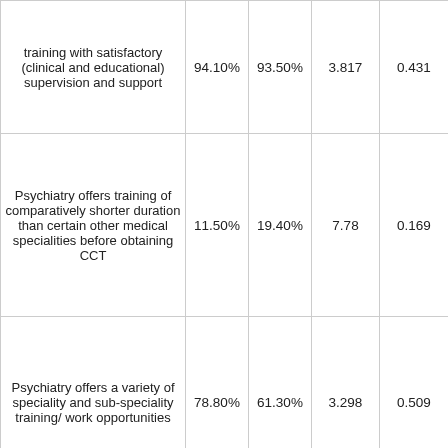| ...training with satisfactory (clinical and educational) supervision and support | 94.10% | 93.50% | 3.817 | 0.431 |
| Psychiatry offers training of comparatively shorter duration than certain other medical specialities before obtaining CCT | 11.50% | 19.40% | 7.78 | 0.169 |
| Psychiatry offers a variety of speciality and sub-speciality training/ work opportunities... | 78.80% | 61.30% | 3.298 | 0.509 |